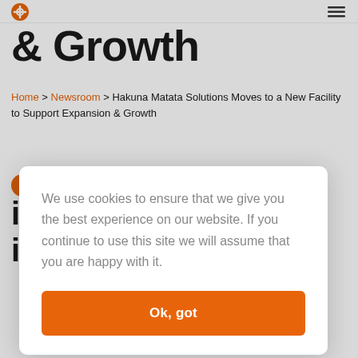Hakuna Matata Solutions logo
& Growth
Home > Newsroom > Hakuna Matata Solutions Moves to a New Facility to Support Expansion & Growth
9
ions ity to
[Figure (infographic): Cookie consent modal dialog with orange Ok button. Text: We use cookies to ensure that we give you the best experience on our website. If you continue to use this site we will assume that you are happy with it. Button: Ok, got]
We use cookies to ensure that we give you the best experience on our website. If you continue to use this site we will assume that you are happy with it.